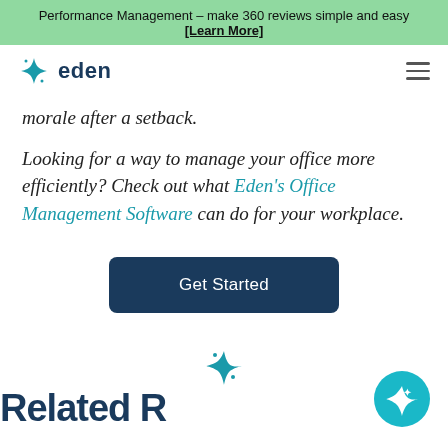Performance Management – make 360 reviews simple and easy [Learn More]
[Figure (logo): Eden logo with teal sparkle star icon and dark blue 'eden' wordmark, plus hamburger menu icon]
morale after a setback.
Looking for a way to manage your office more efficiently? Check out what Eden's Office Management Software can do for your workplace.
Get Started
[Figure (illustration): Teal four-pointed sparkle/star decorative icon centered on page]